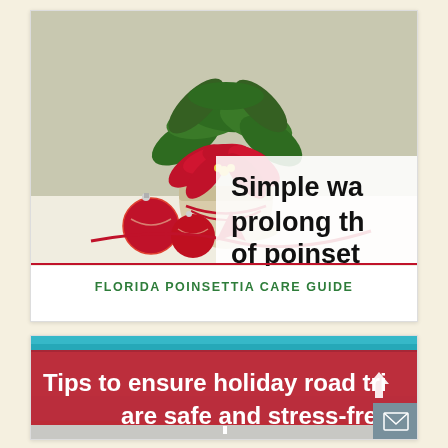[Figure (photo): Photo of a red poinsettia plant in a white pot with red Christmas ornaments and ribbons. Text overlay reads 'Simple wa prolong th of poinset' (partially cropped). Below the image is the label 'FLORIDA POINSETTIA CARE GUIDE' in green bold uppercase letters.]
FLORIDA POINSETTIA CARE GUIDE
[Figure (photo): Photo of a road trip scene with a light blue sky. Red banner overlay with white text reads 'Tips to ensure holiday road trips are safe and stress-free'. A grey email button icon is in the bottom-right corner.]